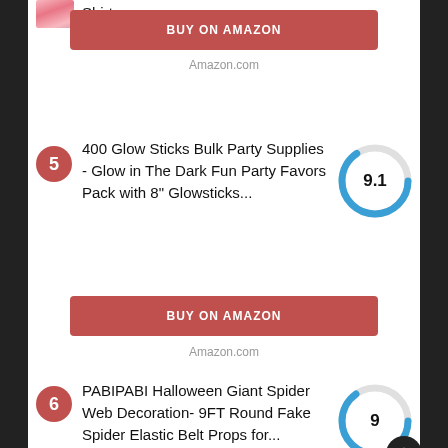[Figure (photo): Partial pink shirt product image (top of previous item)]
Shirt
BUY ON AMAZON (button for previous item)
Amazon.com
5 — 400 Glow Sticks Bulk Party Supplies - Glow in The Dark Fun Party Favors Pack with 8" Glowsticks... — Score: 9.1
BUY ON AMAZON
Amazon.com
6 — PABIPABI Halloween Giant Spider Web Decoration- 9FT Round Fake Spider Elastic Belt Props for... — Score: 9